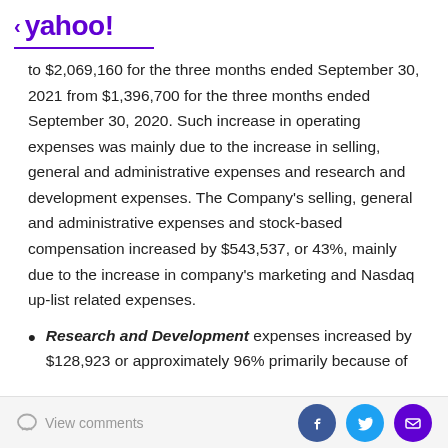< yahoo!
to $2,069,160 for the three months ended September 30, 2021 from $1,396,700 for the three months ended September 30, 2020. Such increase in operating expenses was mainly due to the increase in selling, general and administrative expenses and research and development expenses. The Company's selling, general and administrative expenses and stock-based compensation increased by $543,537, or 43%, mainly due to the increase in company's marketing and Nasdaq up-list related expenses.
Research and Development expenses increased by $128,923 or approximately 96% primarily because of
View comments